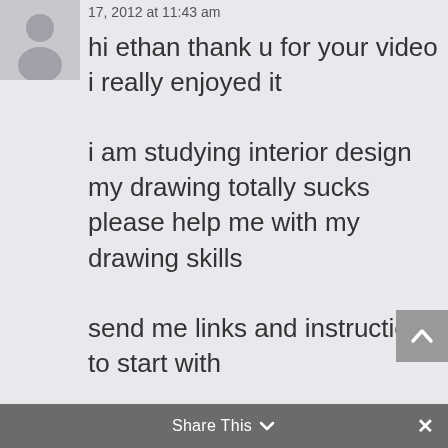[Figure (illustration): Generic user avatar placeholder — grey silhouette of a person on a light grey square background]
17, 2012 at 11:43 am
hi ethan thank u for your video i really enjoyed it

i am studying interior design my drawing totally sucks please help me with my drawing skills

send me links and instructions to start with
Share This  ×